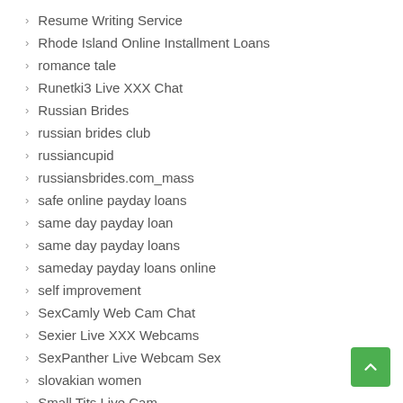Resume Writing Service
Rhode Island Online Installment Loans
romance tale
Runetki3 Live XXX Chat
Russian Brides
russian brides club
russiancupid
russiansbrides.com_mass
safe online payday loans
same day payday loan
same day payday loans
sameday payday loans online
self improvement
SexCamly Web Cam Chat
Sexier Live XXX Webcams
SexPanther Live Webcam Sex
slovakian women
Small Tits Live Cam